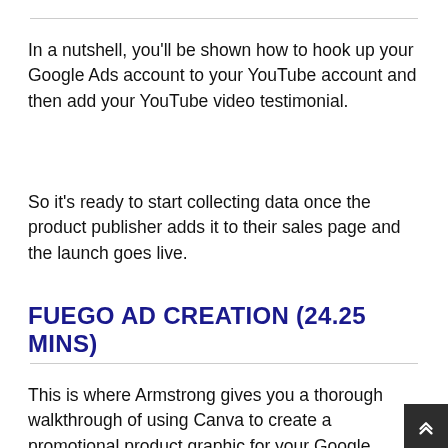In a nutshell, you'll be shown how to hook up your Google Ads account to your YouTube account and then add your YouTube video testimonial.
So it's ready to start collecting data once the product publisher adds it to their sales page and the launch goes live.
FUEGO AD CREATION (24.25 MINS)
This is where Armstrong gives you a thorough walkthrough of using Canva to create a promotional product graphic for your Google Ads campaign.